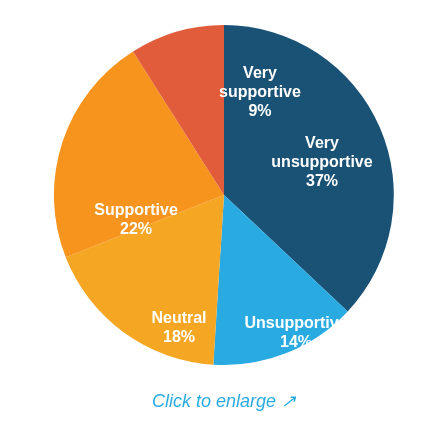[Figure (pie-chart): ]
Click to enlarge ↗